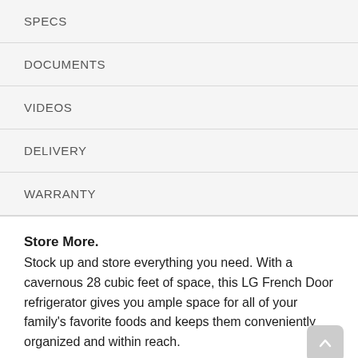SPECS
DOCUMENTS
VIDEOS
DELIVERY
WARRANTY
Store More. Stock up and store everything you need. With a cavernous 28 cubic feet of space, this LG French Door refrigerator gives you ample space for all of your family's favorite foods and keeps them conveniently organized and within reach.
Dual Ice Maker with Craft Ice™